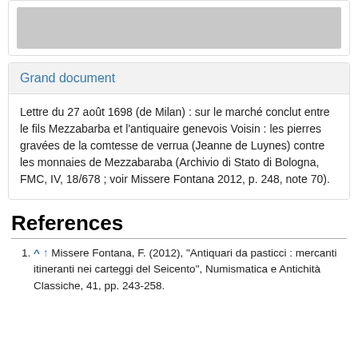[Figure (photo): Gray placeholder image at top of page]
Grand document
Lettre du 27 août 1698 (de Milan) : sur le marché conclut entre le fils Mezzabarba et l'antiquaire genevois Voisin : les pierres gravées de la comtesse de verrua (Jeanne de Luynes) contre les monnaies de Mezzabaraba (Archivio di Stato di Bologna, FMC, IV, 18/678 ; voir Missere Fontana 2012, p. 248, note 70).
References
^ ↑ Missere Fontana, F. (2012), "Antiquari da pasticci : mercanti itineranti nei carteggi del Seicento", Numismatica e Antichità Classiche, 41, pp. 243-258.